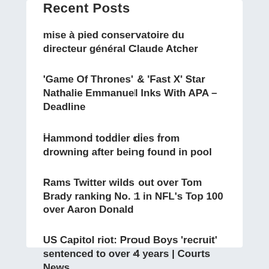Recent Posts
mise à pied conservatoire du directeur général Claude Atcher
'Game Of Thrones' & 'Fast X' Star Nathalie Emmanuel Inks With APA – Deadline
Hammond toddler dies from drowning after being found in pool
Rams Twitter wilds out over Tom Brady ranking No. 1 in NFL's Top 100 over Aaron Donald
US Capitol riot: Proud Boys 'recruit' sentenced to over 4 years | Courts News